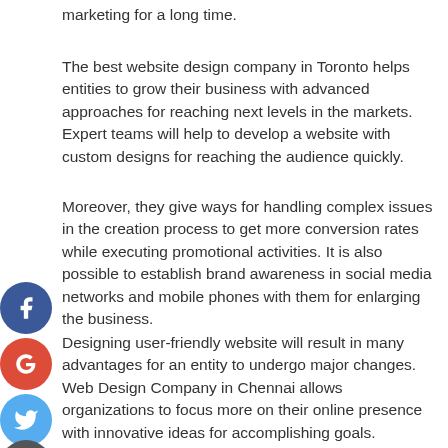marketing for a long time.
The best website design company in Toronto helps entities to grow their business with advanced approaches for reaching next levels in the markets. Expert teams will help to develop a website with custom designs for reaching the audience quickly.
Moreover, they give ways for handling complex issues in the creation process to get more conversion rates while executing promotional activities. It is also possible to establish brand awareness in social media networks and mobile phones with them for enlarging the business.
Designing user-friendly website will result in many advantages for an entity to undergo major changes. Web Design Company in Chennai allows organizations to focus more on their online presence with innovative ideas for accomplishing goals. Professional developers make feasible ways for constructing a web page with advanced tools and frameworks to meet essential needs in internet marketing.